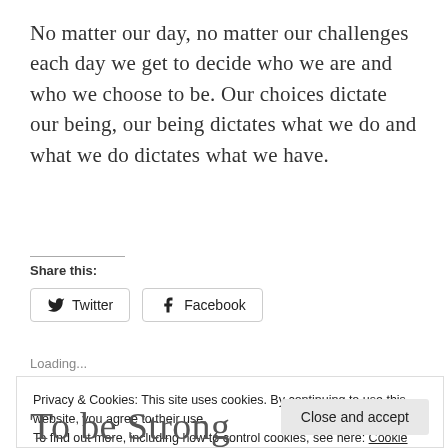No matter our day, no matter our challenges each day we get to decide who we are and who we choose to be. Our choices dictate our being, our being dictates what we do and what we do dictates what we have.
Share this:
[Figure (screenshot): Twitter and Facebook share buttons]
Loading...
Privacy & Cookies: This site uses cookies. By continuing to use this website, you agree to their use.
To find out more, including how to control cookies, see here: Cookie Policy
Close and accept
To be Strong